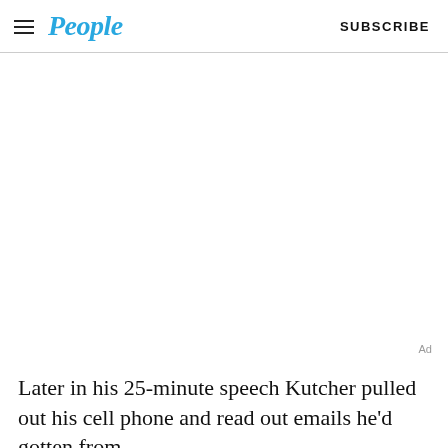People | SUBSCRIBE
[Figure (other): Advertisement placeholder area (blank white space with 'Ad' label)]
Later in his 25-minute speech Kutcher pulled out his cell phone and read out emails he'd gotten from